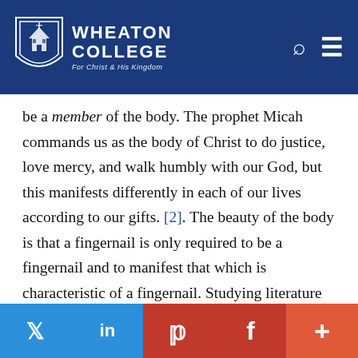Wheaton College — For Christ and His Kingdom
be a member of the body. The prophet Micah commands us as the body of Christ to do justice, love mercy, and walk humbly with our God, but this manifests differently in each of our lives according to our gifts. [2]. The beauty of the body is that a fingernail is only required to be a fingernail and to manifest that which is characteristic of a fingernail. Studying literature has brought me to the recognition that I am an arranger and examiner of language, and in doing this, I am being as much of a fingernail—tiny, simple, purposed—as I can be. There I will remain, on the tip of
Twitter | LinkedIn | Pinterest | Facebook | More